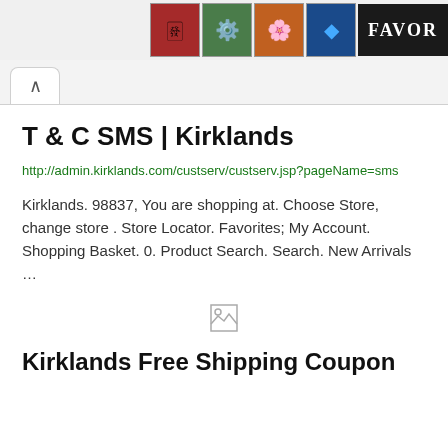[Figure (screenshot): Top banner with mahjong/card game tile icons and partial text 'FAVOR' on dark background]
T & C SMS | Kirklands
http://admin.kirklands.com/custserv/custserv.jsp?pageName=sms
Kirklands. 98837, You are shopping at. Choose Store, change store . Store Locator. Favorites; My Account. Shopping Basket. 0. Product Search. Search. New Arrivals …
[Figure (illustration): Broken image icon placeholder]
Kirklands Free Shipping Coupon